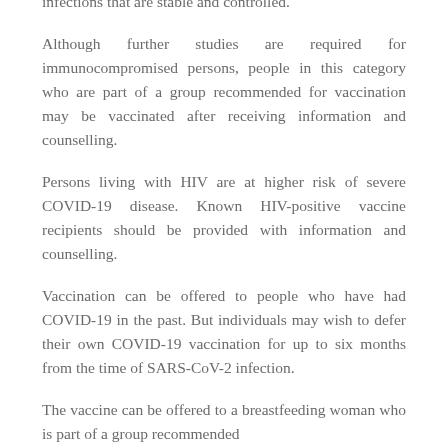infections that are stable and controlled.
Although further studies are required for immunocompromised persons, people in this category who are part of a group recommended for vaccination may be vaccinated after receiving information and counselling.
Persons living with HIV are at higher risk of severe COVID-19 disease. Known HIV-positive vaccine recipients should be provided with information and counselling.
Vaccination can be offered to people who have had COVID-19 in the past. But individuals may wish to defer their own COVID-19 vaccination for up to six months from the time of SARS-CoV-2 infection.
The vaccine can be offered to a breastfeeding woman who is part of a group recommended